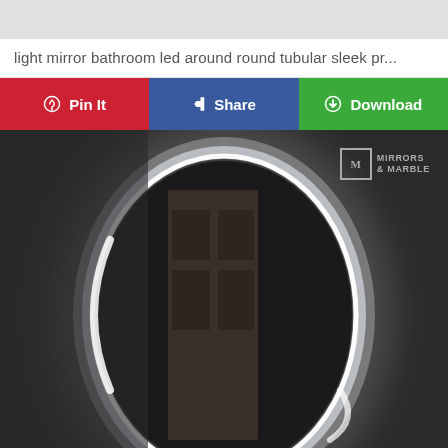light mirror bathroom led around round tubular sleek pr...
Pin It | Share | Download
[Figure (photo): Round LED backlit bathroom mirror mounted on a dark wall, glowing with bright white light around its circular edge. A door is partially visible reflected in the mirror. Mirrors & Marble logo visible in the upper right corner of the photo.]